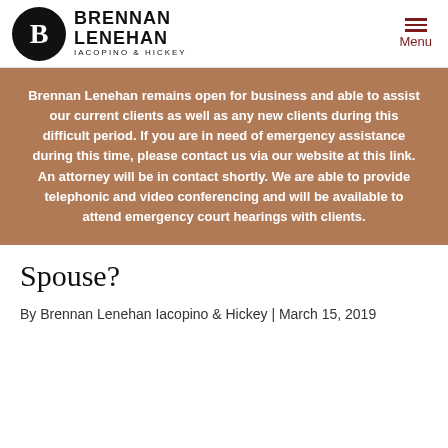[Figure (logo): Brennan Lenehan Iacopino & Hickey law firm logo with circular B monogram and firm name text]
Brennan Lenehan remains open for business and able to assist our current clients as well as any new clients during this difficult period. If you are in need of emergency assistance during this time, please contact us via our website at this link. An attorney will be in contact shortly. We are able to provide telephonic and video conferencing and will be available to attend emergency court hearings with clients.
Spouse?
By Brennan Lenehan Iacopino & Hickey | March 15, 2019